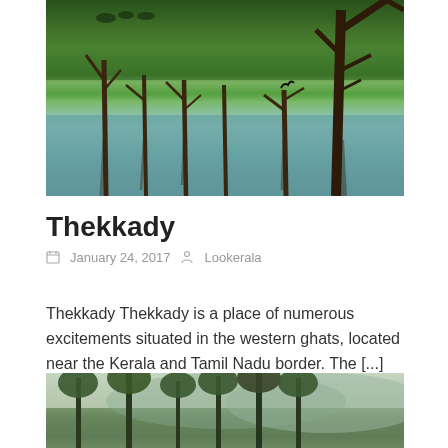[Figure (photo): Nature landscape photo showing dead tree trunks standing in turquoise-blue water with lush green grassy hills and forest in the background, characteristic of Thekkady / Periyar Lake area in Kerala, India]
Thekkady
January 24, 2017   Lookerala
Thekkady Thekkady is a place of numerous excitements situated in the western ghats, located near the Kerala and Tamil Nadu border. The [...]
[Figure (photo): Forest/mountain landscape photo showing tall eucalyptus or similar trees with misty blue-green hills in the background, characteristic of the Western Ghats region]